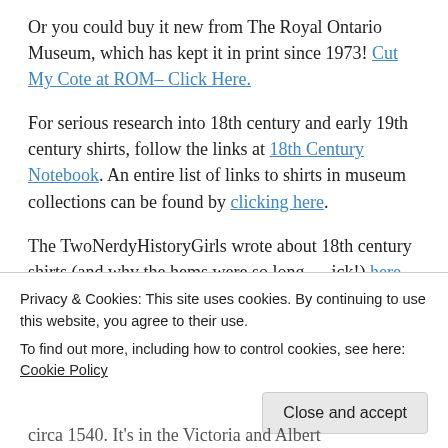Or you could buy it new from The Royal Ontario Museum, which has kept it in print since 1973! Cut My Cote at ROM– Click Here.
For serious research into 18th century and early 19th century shirts, follow the links at 18th Century Notebook. An entire list of links to shirts in museum collections can be found by clicking here.
The TwoNerdyHistoryGirls wrote about 18th century shirts (and why the hems were so long — ick!) here.
It's easy to see why this 1630 embroidered
circa 1540. It's in the Victoria and Albert
Privacy & Cookies: This site uses cookies. By continuing to use this website, you agree to their use.
To find out more, including how to control cookies, see here: Cookie Policy
Close and accept